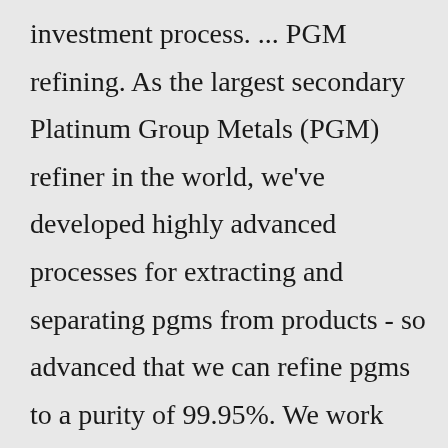investment process. ... PGM refining. As the largest secondary Platinum Group Metals (PGM) refiner in the world, we've developed highly advanced processes for extracting and separating pgms from products - so advanced that we can refine pgms to a purity of 99.95%. We work with our customers to optimise precious metals recovery from complex materials and our ...If the ceramic contains rhodium, it is put